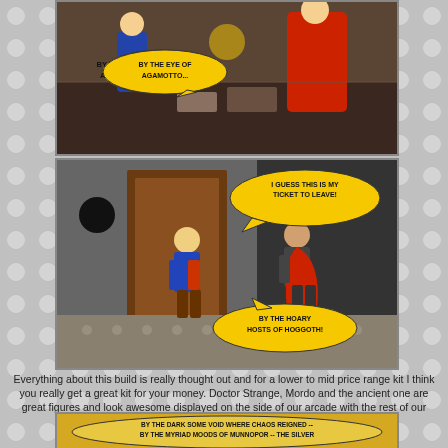[Figure (photo): LEGO scene photo (top) showing Doctor Strange figures with speech bubble 'BY THE EYE OF AGAMOTTO...' on yellow oval bubble]
[Figure (photo): LEGO scene photo (middle) showing Doctor Strange and Mordo minifigures near a doorway with two speech bubbles: 'I GUESS THIS IS MY TICKET TO LEAVE!' and 'BY THE HOARY HOSTS OF HOGGOTH!']
Everything about this build is really thought out and for a lower to mid price range kit I think you really get a great kit for your money. Doctor Strange, Mordo and the ancient one are great figures and look awesome displayed on the side of our arcade with the rest of our Marvel Super Hero collection.
[Figure (photo): LEGO scene photo (bottom strip) with yellow background speech bubble text: 'BY THE DARK SOME VOID WHERE CHAOS REIGNED -- BY THE MYRIAD MOODS OF MUNNOPOR -- THE SILVER']